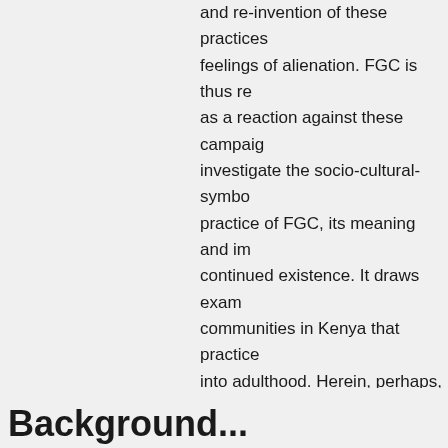and re-invention of these practices feelings of alienation. FGC is thus re as a reaction against these campaig investigate the socio-cultural-symbo practice of FGC, its meaning and im continued existence. It draws exam communities in Kenya that practice into adulthood. Herein, perhaps, lies practice in this contemporary age: it with respect to transformational pro crucial in the representation of the k The aim of this article is not to defe rather to explore the interplay betw cultural dimensions as a counter-rea discourse and policies. In this way w the factors that lay behind its perpe
Background...